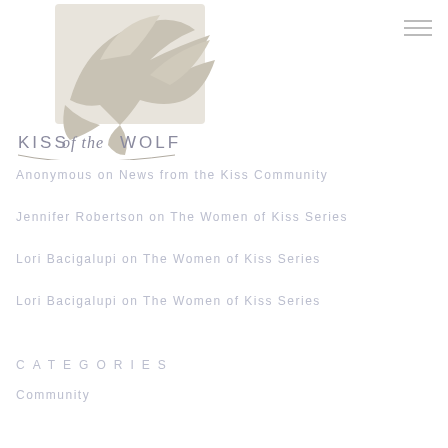[Figure (logo): Kiss of the Wolf logo — abstract bird/wolf graphic in beige/tan tones above the text KISS of the WOLF]
Anonymous on News from the Kiss Community
Jennifer Robertson on The Women of Kiss Series
Lori Bacigalupi on The Women of Kiss Series
Lori Bacigalupi on The Women of Kiss Series
CATEGORIES
Community